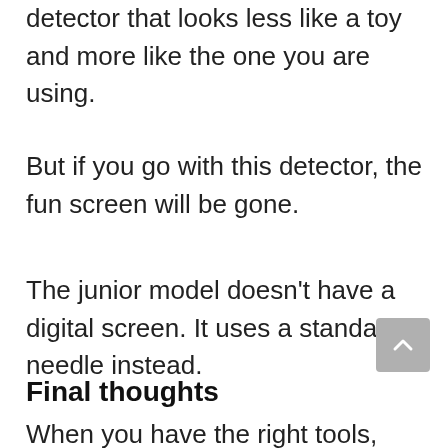detector that looks less like a toy and more like the one you are using.
But if you go with this detector, the fun screen will be gone.
The junior model doesn't have a digital screen. It uses a standard needle instead.
Final thoughts
When you have the right tools, metal